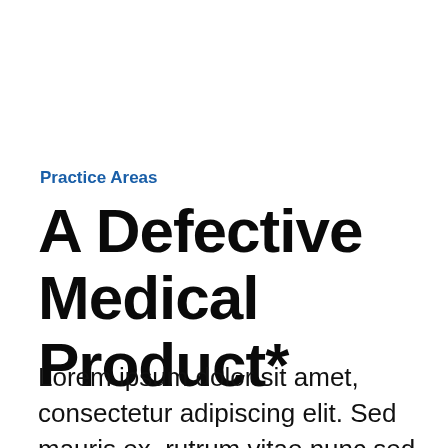Practice Areas
A Defective Medical Product*
Lorem ipsum dolor sit amet, consectetur adipiscing elit. Sed mauris ex, rutrum vitae nunc sed, tincidunt euismod velit